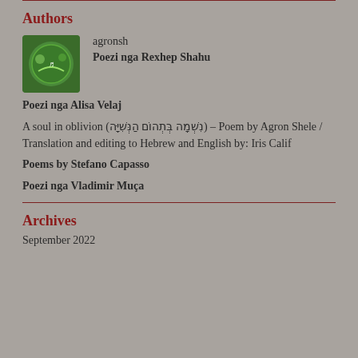Authors
[Figure (logo): Green circular logo with white design, associated with agronsh]
agronsh
Poezi nga Rexhep Shahu
Poezi nga Alisa Velaj
A soul in oblivion (נִשְׁמָה בְּתְהוֹם הַנְּשִׁיָּה) – Poem by Agron Shele / Translation and editing to Hebrew and English by: Iris Calif
Poems by Stefano Capasso
Poezi nga Vladimir Muça
Archives
September 2022